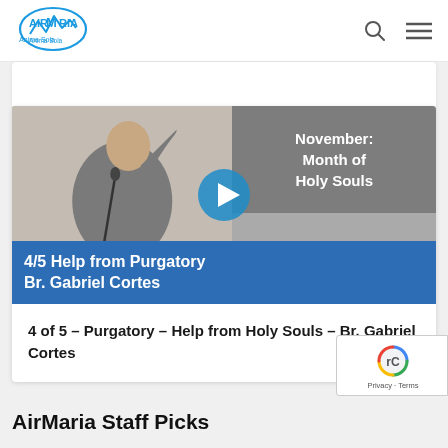[Figure (logo): AirMaria logo with stylized text and wave/mountain graphic in blue]
[Figure (screenshot): Video thumbnail showing a man speaking at a podium with text overlay 'November: Month of Holy Souls' on gray background, blue bar below with text '4/5 Help from Purgatory Br. Gabriel Cortes', and a play button overlay]
4 of 5 – Purgatory – Help from Holy Souls – Br. Gabriel Cortes
AirMaria Staff Picks